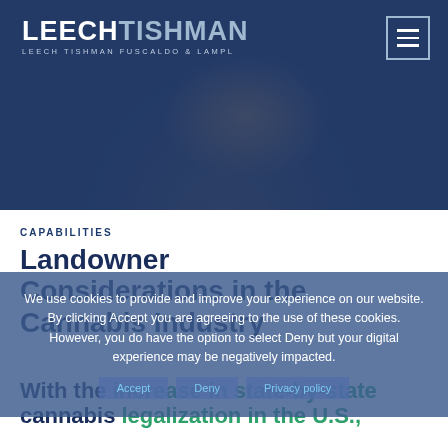[Figure (photo): Hero banner with blue overlay showing a woman with glasses smiling, law firm header background]
LEECHTISHMAN | LEECH TISHMAN FUSCALDO & LAMPL
CAPABILITIES
Landowner Considerations in the Cannabis Industry
With the increase in state-by-state cannabis legalization in the U.S.,
We use cookies to provide and improve your experience on our website. By clicking Accept you are agreeing to the use of these cookies. However, you do have the option to select Deny but your digital experience may be negatively impacted.
Accept | Deny | Privacy policy